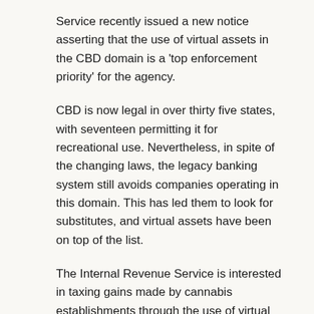Service recently issued a new notice asserting that the use of virtual assets in the CBD domain is a 'top enforcement priority' for the agency.
CBD is now legal in over thirty five states, with seventeen permitting it for recreational use. Nevertheless, in spite of the changing laws, the legacy banking system still avoids companies operating in this domain. This has led them to look for substitutes, and virtual assets have been on top of the list.
The Internal Revenue Service is interested in taxing gains made by cannabis establishments through the use of virtual assets. In a recent notice, the Small Business Division Commissioner of IRS, De Lon Harris, offered advice for the first time in this arising sector.
He mentioned,